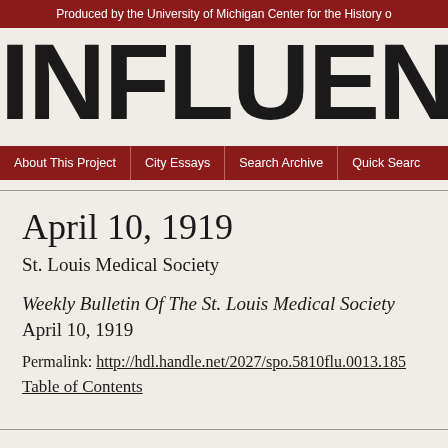Produced by the University of Michigan Center for the History o
INFLUENZA E
About This Project | City Essays | Search Archive | Quick Searc
April 10, 1919
St. Louis Medical Society
Weekly Bulletin Of The St. Louis Medical Society
April 10, 1919
Permalink: http://hdl.handle.net/2027/spo.5810flu.0013.185
Table of Contents